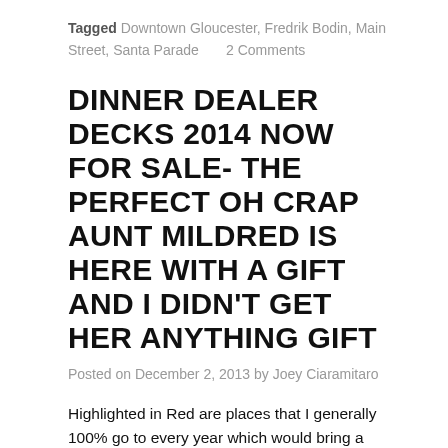Tagged Downtown Gloucester, Fredrik Bodin, Main Street, Santa Parade     2 Comments
DINNER DEALER DECKS 2014 NOW FOR SALE- THE PERFECT OH CRAP AUNT MILDRED IS HERE WITH A GIFT AND I DIDN'T GET HER ANYTHING GIFT
Posted on December 2, 2013 by Joey Ciaramitaro
Highlighted in Red are places that I generally 100% go to every year which would bring a total savings of $180.  Dinner Dealer Decks Are the Perfect Size For